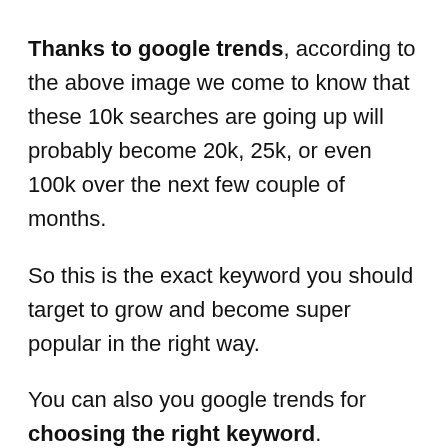Thanks to google trends, according to the above image we come to know that these 10k searches are going up will probably become 20k, 25k, or even 100k over the next few couple of months.
So this is the exact keyword you should target to grow and become super popular in the right way.
You can also you google trends for choosing the right keyword.
This tool helps you to find which keyword